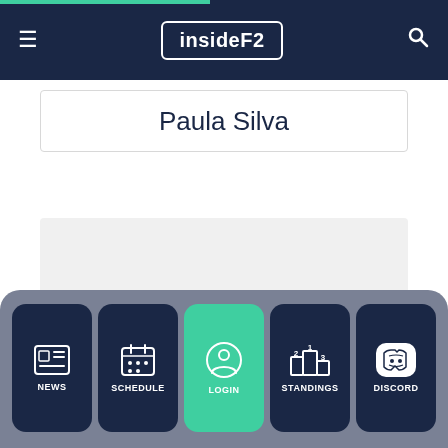insideF2 navigation header with menu icon, logo, and search icon
Paula Silva
[Figure (other): Gray placeholder/advertisement block]
NEWS | SCHEDULE | LOGIN | STANDINGS | DISCORD